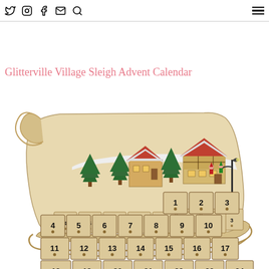[navigation icons: Twitter, Instagram, Facebook, Email, Search] [hamburger menu]
...authentic, artmade options that allow you to choose exactly what hides behind each door. They're perfectly sized for a small piece of chocolate, mini beauty goodies or even a sweet note or intention.
Glitterville Village Sleigh Advent Calendar
[Figure (photo): A wooden advent calendar shaped like a Santa sleigh with a miniature Christmas village scene on top (houses, trees, elves/Santas, lamp post). The sleigh body contains 24 numbered small wooden drawers arranged in rows: Row 1: 1, 2, 3; Row 2: 4, 5, 6, 7, 8, 9, 10; Row 3: 11, 12, 13, 14, 15, 16, 17; Row 4: 18, 19, 20, 21, 22, 23, 24.]